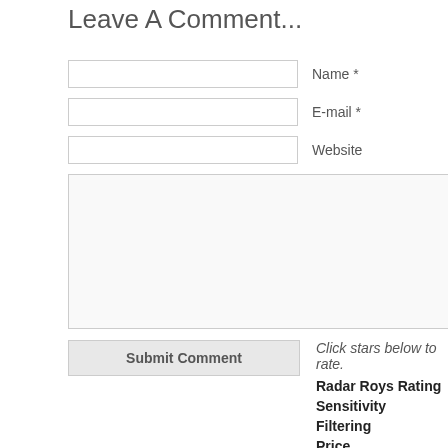Leave A Comment...
Name *
E-mail *
Website
Click stars below to rate.
Submit Comment
Radar Roys Rating
Sensitivity
Filtering
Price
GPS Capabilities